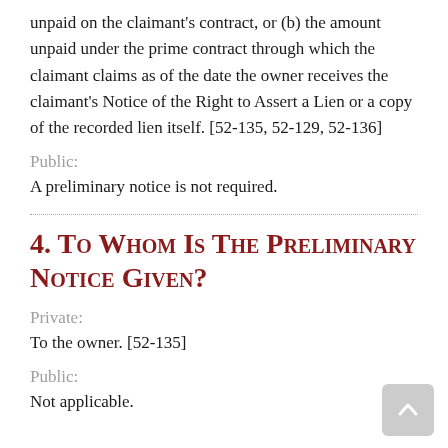unpaid on the claimant's contract, or (b) the amount unpaid under the prime contract through which the claimant claims as of the date the owner receives the claimant's Notice of the Right to Assert a Lien or a copy of the recorded lien itself. [52-135, 52-129, 52-136]
Public:
A preliminary notice is not required.
4. To Whom Is The Preliminary Notice Given?
Private:
To the owner. [52-135]
Public:
Not applicable.